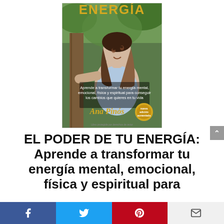[Figure (photo): Book cover of 'El Poder de tu Energía' by Ana Pinós. Features a woman with long hair looking upward, green trees in background. Title 'ENERGIA' in gold letters at top. Subtitle in Spanish about learning to transform mental, emotional, physical and spiritual energy. Author name 'Ana Pinós' in gold. A gold seal badge is visible.]
EL PODER DE TU ENERGÍA: Aprende a transformar tu energía mental, emocional, física y espiritual para
[Figure (infographic): Social sharing bar with Facebook (blue), Twitter (light blue), Pinterest (red), and email (light gray) buttons.]